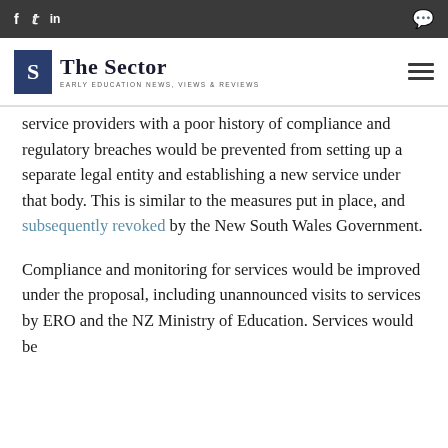The Sector — Early Education News, Views & Reviews
service providers with a poor history of compliance and regulatory breaches would be prevented from setting up a separate legal entity and establishing a new service under that body. This is similar to the measures put in place, and subsequently revoked by the New South Wales Government.
Compliance and monitoring for services would be improved under the proposal, including unannounced visits to services by ERO and the NZ Ministry of Education. Services would be